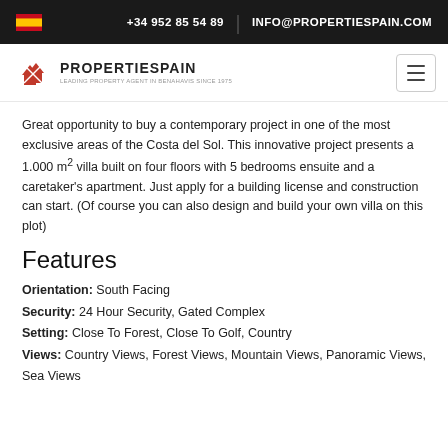+34 952 85 54 89 | INFO@PROPERTIESPAIN.COM
[Figure (logo): PropertySpain logo with crossed house icons and text PROPERTIESPAIN LEADING PROPERTY AGENT IN BENAHAVIS SINCE 1975]
Great opportunity to buy a contemporary project in one of the most exclusive areas of the Costa del Sol. This innovative project presents a 1.000 m² villa built on four floors with 5 bedrooms ensuite and a caretaker's apartment. Just apply for a building license and construction can start. (Of course you can also design and build your own villa on this plot)
Features
Orientation: South Facing
Security: 24 Hour Security, Gated Complex
Setting: Close To Forest, Close To Golf, Country
Views: Country Views, Forest Views, Mountain Views, Panoramic Views, Sea Views